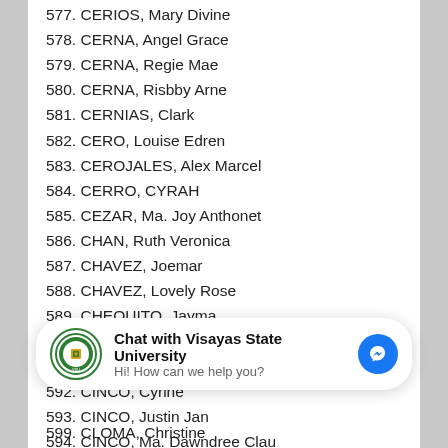577. CERIOS, Mary Divine
578. CERNA, Angel Grace
579. CERNA, Regie Mae
580. CERNA, Risbby Arne
581. CERNIAS, Clark
582. CERO, Louise Edren
583. CEROJALES, Alex Marcel
584. CERRO, CYRAH
585. CEZAR, Ma. Joy Anthonet
586. CHAN, Ruth Veronica
587. CHAVEZ, Joemar
588. CHAVEZ, Lovely Rose
589. CHEQUITO, Jayma
590. CHICANO, Gerlie Anne
591. CHICO, Clyde Bea
592. CINCO, Cyrine
593. CINCO, Justin Jan
594. CINCO, Ma. Dawndree Clau
595. CINCO, Ma. Daydree Vi
[Figure (screenshot): Chat widget: Chat with Visayas State University. Hi! How can we help you? With university logo and Messenger icon.]
599. CLOMA, Christine